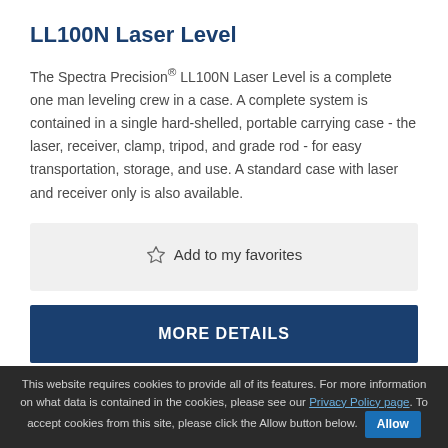LL100N Laser Level
The Spectra Precision® LL100N Laser Level is a complete one man leveling crew in a case. A complete system is contained in a single hard-shelled, portable carrying case - the laser, receiver, clamp, tripod, and grade rod - for easy transportation, storage, and use. A standard case with laser and receiver only is also available.
☆ Add to my favorites
MORE DETAILS
This website requires cookies to provide all of its features. For more information on what data is contained in the cookies, please see our Privacy Policy page. To accept cookies from this site, please click the Allow button below.